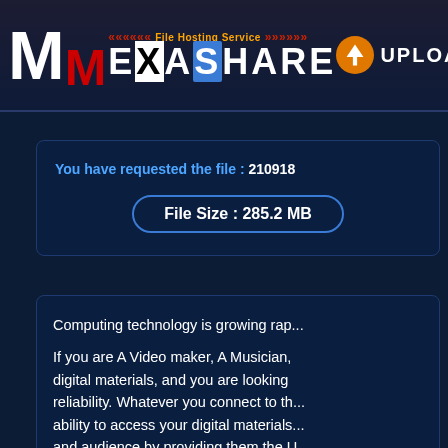MexaShare - File Hosting Service - UPLOAD
You have requested the file : 210918
File Size : 285.2 MB
Computing technology is growing rap...
If you are A Video maker, A Musician, digital materials, and you are looking reliability. Whatever you connect to the ability to access your digital materials and audience by providing them the U
We are commited by DMCA law, so if